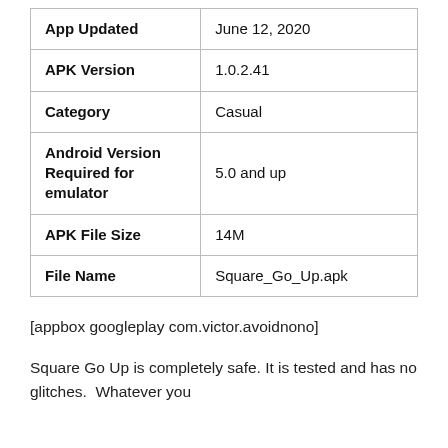| App Updated | June 12, 2020 |
| APK Version | 1.0.2.41 |
| Category | Casual |
| Android Version Required for emulator | 5.0 and up |
| APK File Size | 14M |
| File Name | Square_Go_Up.apk |
[appbox googleplay com.victor.avoidnono]
Square Go Up is completely safe. It is tested and has no glitches.  Whatever you